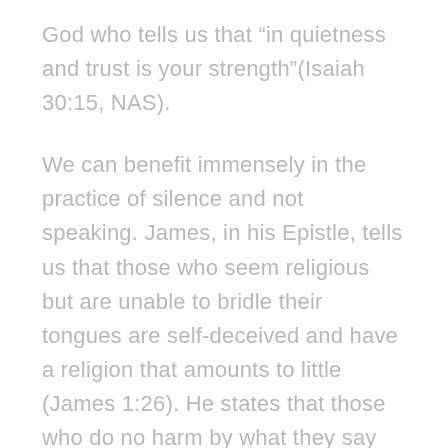God who tells us that “in quietness and trust is your strength”(Isaiah 30:15, NAS).
We can benefit immensely in the practice of silence and not speaking. James, in his Epistle, tells us that those who seem religious but are unable to bridle their tongues are self-deceived and have a religion that amounts to little (James 1:26). He states that those who do no harm by what they say are perfect and able to direct their whole bodies to do what is right (James 3:2).'